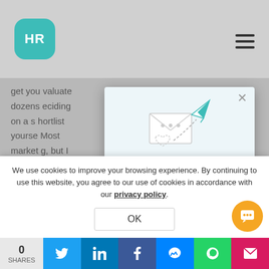[Figure (logo): HR cloud logo - teal rounded square with HR text in white]
get you... valuate dozens... eciding on a s... hortlist yourse... Most market... g, but I would s... ointers about h...
[Figure (screenshot): Email subscription modal with paper airplane illustration, title 'Get the latest HR industry news!', and email input field with placeholder 'Your Email*']
We use cookies to improve your browsing experience. By continuing to use this website, you agree to our use of cookies in accordance with our privacy policy.
OK
0 SHARES  [Twitter] [LinkedIn] [Facebook] [Messenger] [WhatsApp] [More]